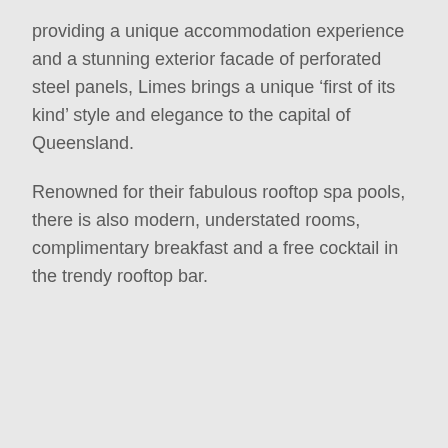providing a unique accommodation experience and a stunning exterior facade of perforated steel panels, Limes brings a unique ‘first of its kind’ style and elegance to the capital of Queensland.
Renowned for their fabulous rooftop spa pools, there is also modern, understated rooms, complimentary breakfast and a free cocktail in the trendy rooftop bar.